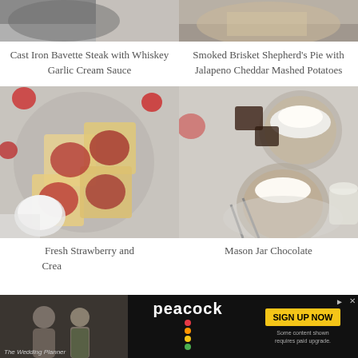[Figure (photo): Top-down food photo of Cast Iron Bavette Steak, partial view cropped at top]
[Figure (photo): Top-down food photo of Smoked Brisket Shepherd's Pie with Jalapeno Cheddar Mashed Potatoes, partial view cropped at top]
Cast Iron Bavette Steak with Whiskey Garlic Cream Sauce
Smoked Brisket Shepherd's Pie with Jalapeno Cheddar Mashed Potatoes
[Figure (photo): Overhead shot of Fresh Strawberry and Cream Cheese Pastries on a wire cooling rack with powdered sugar and strawberries]
[Figure (photo): Overhead shot of Mason Jar Chocolate desserts with whipped cream, chocolate pieces and spoons on a plate]
Fresh Strawberry and Cream Cheese Pastries
Mason Jar Chocolate Brownie Pie
[Figure (screenshot): Advertisement banner for Peacock streaming service with The Wedding Planner movie image, Peacock logo, SIGN UP NOW button, and fine print text]